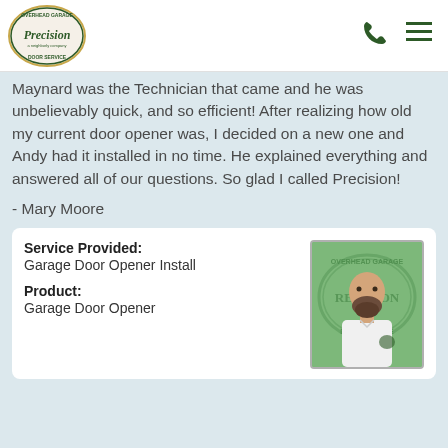Precision Door Service — a Neighborly company
Maynard was the Technician that came and he was unbelievably quick, and so efficient! After realizing how old my current door opener was, I decided on a new one and Andy had it installed in no time. He explained everything and answered all of our questions. So glad I called Precision!
- Mary Moore
| Service Provided: | Product: |
| --- | --- |
| Garage Door Opener Install | Garage Door Opener |